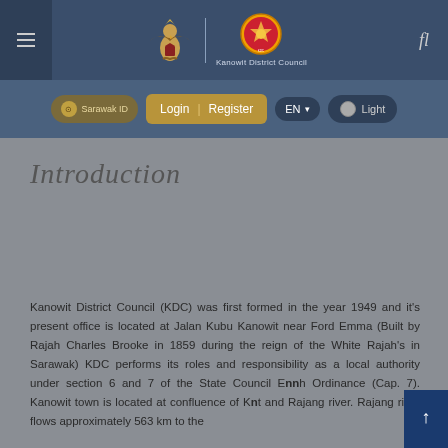[Figure (logo): Kanowit District Council website header with eagle emblem, circular badge logo, and 'Kanowit District Council' text on dark navy background]
[Figure (screenshot): Navigation bar with Sarawak ID button, Login | Register button, EN language toggle, and Light mode toggle]
Introduction
Kanowit District Council (KDC) was first formed in the year 1949 and it's present office is located at Jalan Kubu Kanowit near Ford Emma (Built by Rajah Charles Brooke in 1859 during the reign of the White Rajah's in Sarawak) KDC performs its roles and responsibility as a local authority under section 6 and 7 of the State Council Blah Ordinance (Cap. 7). Kanowit town is located at confluence of Kanowit and Rajang river. Rajang river flows approximately 563 km to the